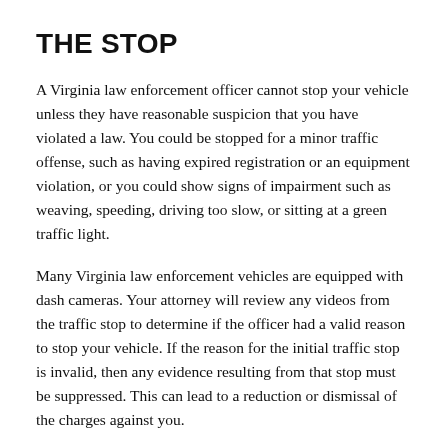THE STOP
A Virginia law enforcement officer cannot stop your vehicle unless they have reasonable suspicion that you have violated a law. You could be stopped for a minor traffic offense, such as having expired registration or an equipment violation, or you could show signs of impairment such as weaving, speeding, driving too slow, or sitting at a green traffic light.
Many Virginia law enforcement vehicles are equipped with dash cameras. Your attorney will review any videos from the traffic stop to determine if the officer had a valid reason to stop your vehicle. If the reason for the initial traffic stop is invalid, then any evidence resulting from that stop must be suppressed. This can lead to a reduction or dismissal of the charges against you.
CHALLENGING THE TEST